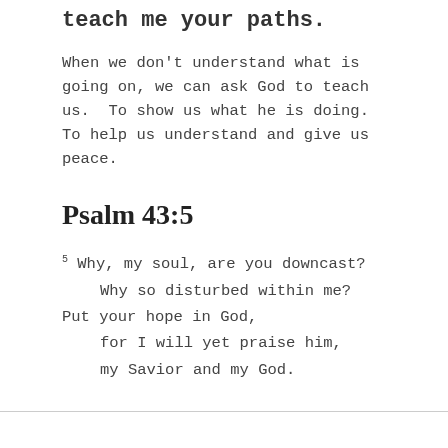teach me your paths.
When we don't understand what is going on, we can ask God to teach us.  To show us what he is doing.  To help us understand and give us peace.
Psalm 43:5
5 Why, my soul, are you downcast?
    Why so disturbed within me?
Put your hope in God,
    for I will yet praise him,
    my Savior and my God.